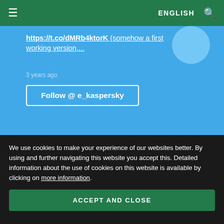ENGLISH
https://t.co/dMRb4ktorK (somehow a first working version,...
3 years ago
Follow @ e_kaspersky
[Figure (screenshot): Facebook social media card with dark blue background and large 'f' logo watermark]
We use cookies to make your experience of our websites better. By using and further navigating this website you accept this. Detailed information about the use of cookies on this website is available by clicking on more information.
ACCEPT AND CLOSE